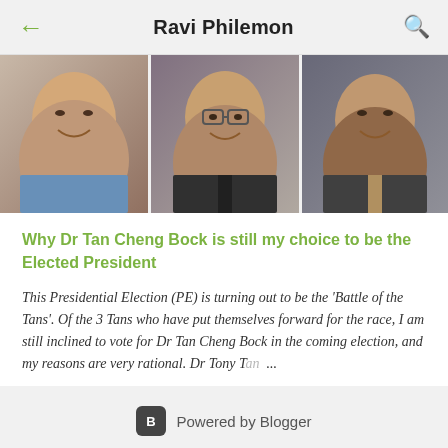Ravi Philemon
[Figure (photo): Three men smiling — a photo strip showing three separate portrait photos side by side]
Why Dr Tan Cheng Bock is still my choice to be the Elected President
This Presidential Election (PE) is turning out to be the 'Battle of the Tans'. Of the 3 Tans who have put themselves forward for the race, I am still inclined to vote for Dr Tan Cheng Bock in the coming election, and my reasons are very rational. Dr Tony Ta ...
Powered by Blogger